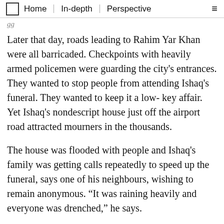Home | In-depth | Perspective
Later that day, roads leading to Rahim Yar Khan were all barricaded. Checkpoints with heavily armed policemen were guarding the city's entrances. They wanted to stop people from attending Ishaq's funeral. They wanted to keep it a low- key affair. Yet Ishaq's nondescript house just off the airport road attracted mourners in the thousands.
The house was flooded with people and Ishaq's family was getting calls repeatedly to speed up the funeral, says one of his neighbours, wishing to remain anonymous. “It was raining heavily and everyone was drenched,” he says.